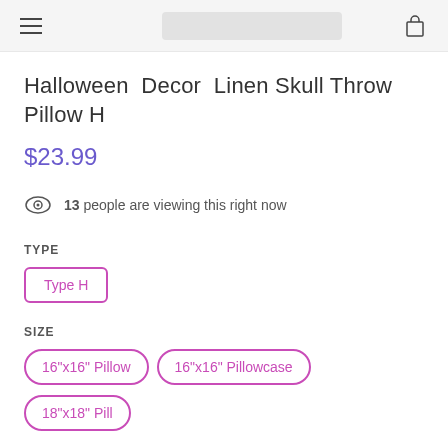Navigation header with hamburger menu, search bar, and cart icon
Halloween Decor Linen Skull Throw Pillow H
$23.99
13 people are viewing this right now
TYPE
Type H
SIZE
16"x16" Pillow
16"x16" Pillowcase